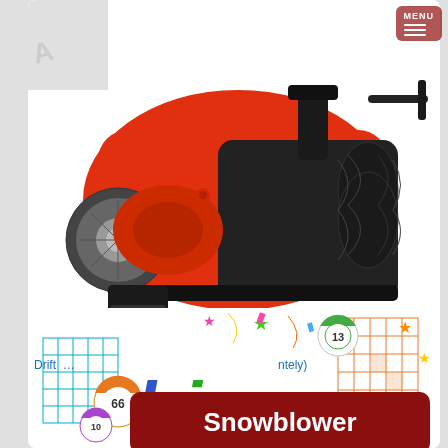[Figure (photo): Red snowblower machine photographed from the front-bottom angle showing wheels, auger and red housing against white background]
Drift … (ntely)
Snowblower
[Figure (illustration): Colorful bingo logo with large rainbow-colored 'bingo' text, bingo balls numbered 66, 10, 13, 3, stars, and bingo card grids in a festive graphic design]